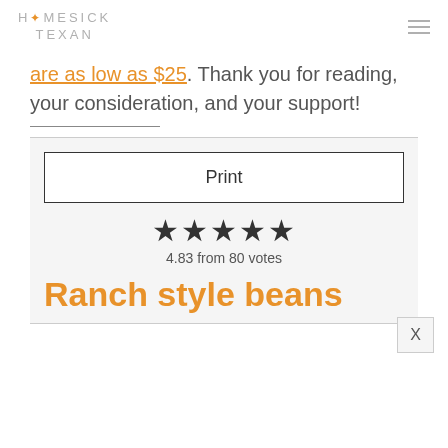HOMESICK TEXAN
are as low as $25. Thank you for reading, your consideration, and your support!
Print
★★★★★
4.83 from 80 votes
Ranch style beans